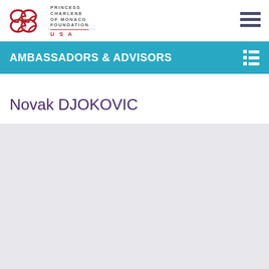PRINCESS CHARLENE OF MONACO FOUNDATION USA
AMBASSADORS & ADVISORS
Novak DJOKOVIC